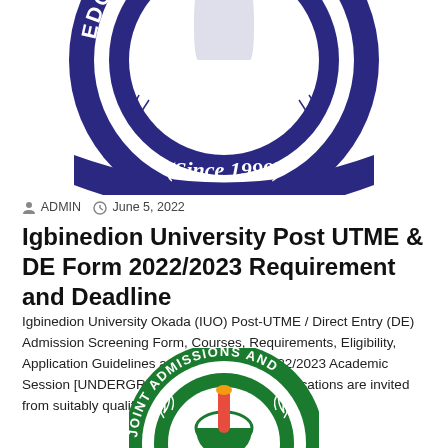[Figure (logo): Igbinedion University Okada circular logo in dark blue and white, text reads EDO STATE, NIGERIA and (Since 1999), with KNOWLEDGE & EXCELLENCE motto]
ADMIN   June 5, 2022
Igbinedion University Post UTME & DE Form 2022/2023 Requirement and Deadline
Igbinedion University Okada (IUO) Post-UTME / Direct Entry (DE) Admission Screening Form, Courses, Requirements, Eligibility, Application Guidelines and Deadline for 2022/2023 Academic Session [UNDERGRADUATE]. Currently, applications are invited from suitably qualified candidates for first year…
[Figure (logo): JAMB (Joint Admissions and Matriculation Board) circular green logo with mortar and pestle icon in center, text reads JOINT ADMISSIONS AND]